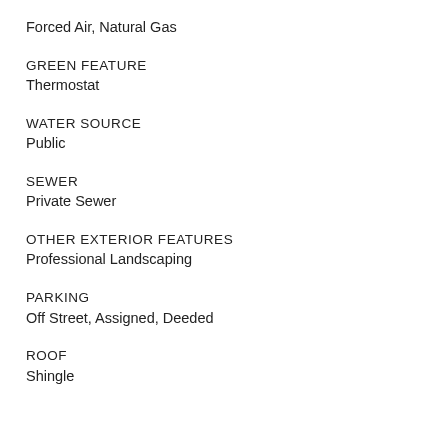Forced Air, Natural Gas
GREEN FEATURE
Thermostat
WATER SOURCE
Public
SEWER
Private Sewer
OTHER EXTERIOR FEATURES
Professional Landscaping
PARKING
Off Street, Assigned, Deeded
ROOF
Shingle